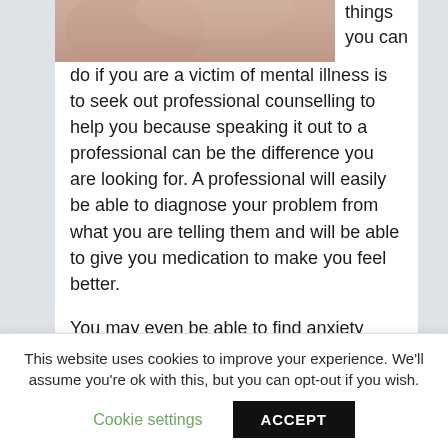[Figure (photo): Partial photo of a person, cropped at top of page, with blurred side background panels.]
things you can do if you are a victim of mental illness is to seek out professional counselling to help you because speaking it out to a professional can be the difference you are looking for. A professional will easily be able to diagnose your problem from what you are telling them and will be able to give you medication to make you feel better.
You may even be able to find anxiety counselling Central Coast that is offered to people without charge if you do not have much money to afford paid treatment. In many cases, the governments of
This website uses cookies to improve your experience. We'll assume you're ok with this, but you can opt-out if you wish.